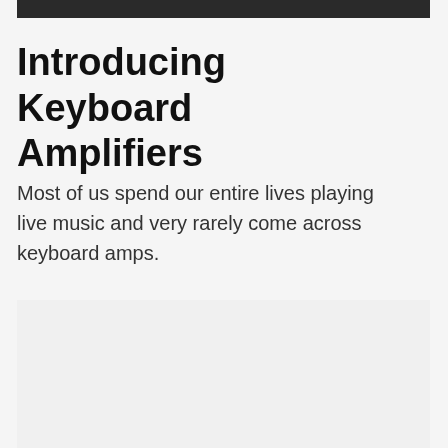[Figure (photo): A dark, partially visible photograph at the top of the page, appearing to show a person or musicians in a low-light setting.]
Introducing Keyboard Amplifiers
Most of us spend our entire lives playing live music and very rarely come across keyboard amps.
[Figure (photo): A large image placeholder area in the lower portion of the page, light gray background suggesting an image to be loaded.]